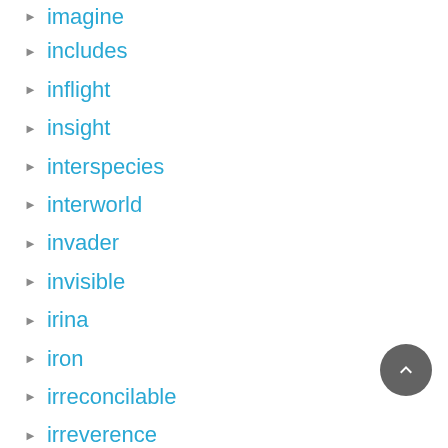imagine
includes
inflight
insight
interspecies
interworld
invader
invisible
irina
iron
irreconcilable
irreverence
isamu